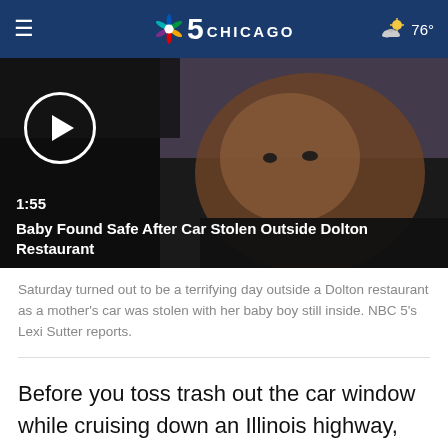NBC 5 Chicago — 76°
[Figure (screenshot): Video thumbnail showing a baby's face with a play button circle overlay. Video duration shown as 1:55. Title: Baby Found Safe After Car Stolen Outside Dolton Restaurant]
Saturday turned out to be a terrifying day outside a Dolton restaurant as a mother's car was stolen with her baby boy still inside. NBC 5's Lexi Sutter reports.
Before you toss trash out the car window while cruising down an Illinois highway, think of this: Taxpayers pay $6 million a year to clean it up.